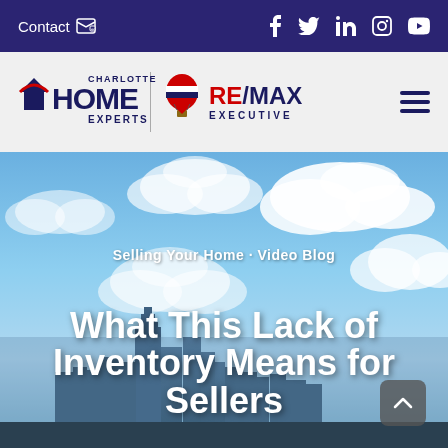Contact  |  f  tw  in  ig  yt
[Figure (logo): Charlotte Home Experts / RE/MAX Executive logo with navigation menu icon]
[Figure (photo): Hero image of Charlotte NC city skyline under blue sky with clouds]
Selling Your Home · Video Blog
What This Lack of Inventory Means for Sellers